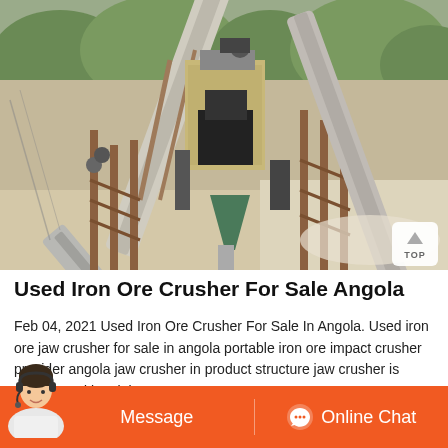[Figure (photo): Aerial/elevated view of a mining crushing plant with belt conveyors, iron ore jaw crusher equipment on metal scaffolding frames, with trees and sandy ground visible in background]
Used Iron Ore Crusher For Sale Angola
Feb 04, 2021 Used Iron Ore Crusher For Sale In Angola. Used iron ore jaw crusher for sale in angola portable iron ore impact crusher provider angola jaw crusher in product structure jaw crusher is widely used in mining
Message   Online Chat